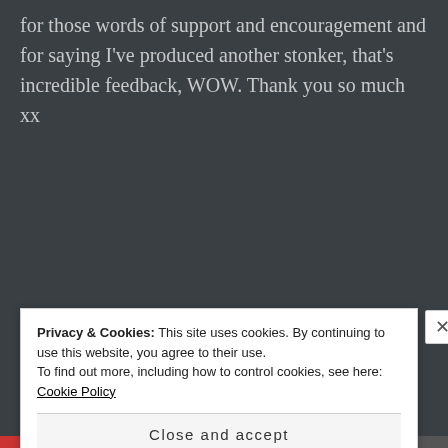for those words of support and encouragement and for saying I've produced another stonker, that's incredible feedback, WOW. Thank you so much xx
★ Like
HORTI HUGH says: March 2, 2017 at 11:58 pm
Privacy & Cookies: This site uses cookies. By continuing to use this website, you agree to their use. To find out more, including how to control cookies, see here: Cookie Policy
Close and accept